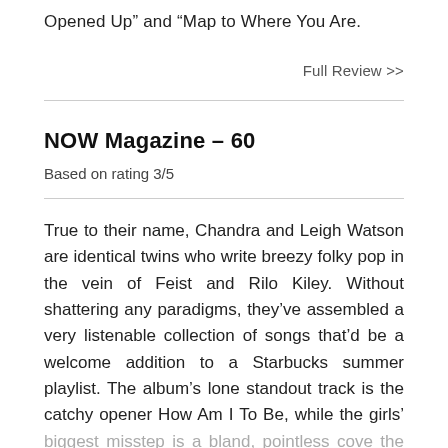Opened Up" and "Map to Where You Are.
Full Review >>
NOW Magazine – 60
Based on rating 3/5
True to their name, Chandra and Leigh Watson are identical twins who write breezy folky pop in the vein of Feist and Rilo Kiley. Without shattering any paradigms, they've assembled a very listenable collection of songs that'd be a welcome addition to a Starbucks summer playlist. The album's lone standout track is the catchy opener How Am I To Be, while the girls' biggest misstep is a bland, pointless cover of the Cure's Just Like Heaven.